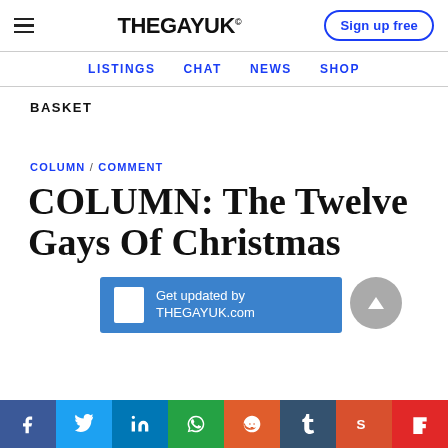THEGAYUK® Sign up free
LISTINGS  CHAT  NEWS  SHOP
BASKET
COLUMN / COMMENT
COLUMN: The Twelve Gays Of Christmas
Get updated by THEGAYUK.com